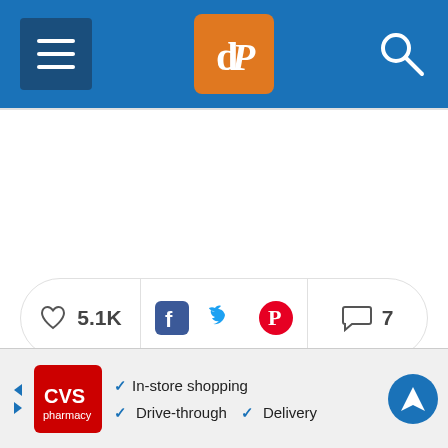dPS (digital Photography School) header with hamburger menu, logo, and search icon
[Figure (screenshot): Social engagement bar showing 5.1K likes (heart icon), Facebook, Twitter, Pinterest share icons, and 7 comments icon]
Read more from our Tips & Tutorials category
[Figure (screenshot): CVS Pharmacy advertisement banner showing In-store shopping, Drive-through, and Delivery options with navigation icon]